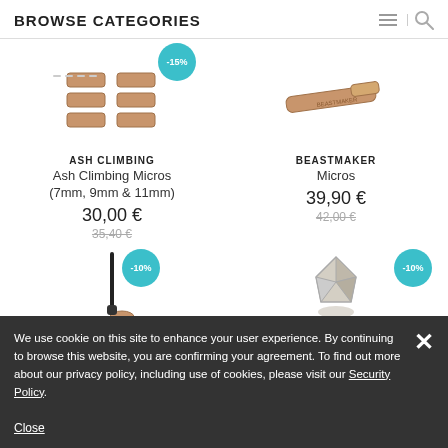BROWSE CATEGORIES
[Figure (photo): Ash Climbing Micros product image with -15% discount badge and wooden finger holds]
ASH CLIMBING
Ash Climbing Micros (7mm, 9mm & 11mm)
30,00 €
35,40 €
[Figure (photo): Beastmaker Micros product image - a wooden finger training tool]
BEASTMAKER
Micros
39,90 €
42,00 €
[Figure (photo): Product with -10% discount badge, appears to be a training tool on a stand]
[Figure (photo): Product with -10% discount badge, appears to be a geometric training hold]
We use cookie on this site to enhance your user experience. By continuing to browse this website, you are confirming your agreement. To find out more about our privacy policy, including use of cookies, please visit our Security Policy.

Close